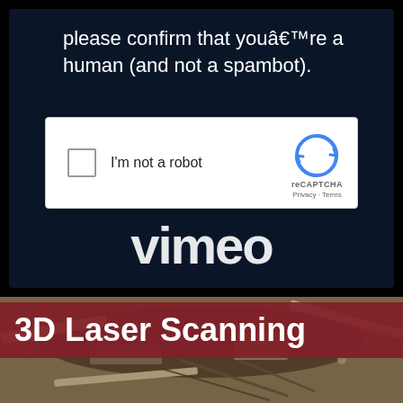please confirm that youâ€™re a human (and not a spambot).
[Figure (screenshot): reCAPTCHA checkbox widget with 'I'm not a robot' label and reCAPTCHA logo with Privacy and Terms links]
Vimeo (partially visible logo text)
[Figure (photo): Aerial photograph of a construction site showing excavated ground, pipes, and building materials from above]
3D Laser Scanning